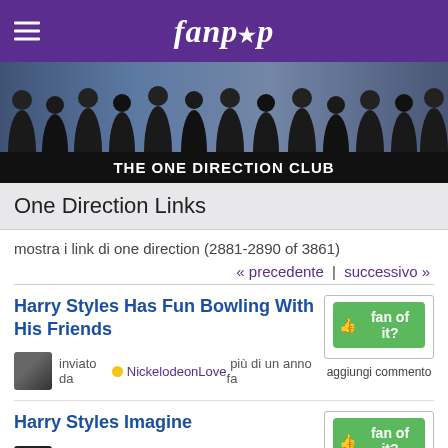fanpop
[Figure (photo): Group photo of One Direction band members as a banner image]
THE ONE DIRECTION CLUB
One Direction Links
mostra i link di one direction (2881-2890 of 3861)
« precedente | successivo »
Harry Styles Has Fun Bowling With His Friends
inviato da NickelodeonLove più di un anno fa
fan of it?
aggiungi commento
Harry Styles Imagine
inviato da superDivya più di un anno fa
fan of it?
aggiungi commento
Harry Styles Is Buying Taylor veloce, ...